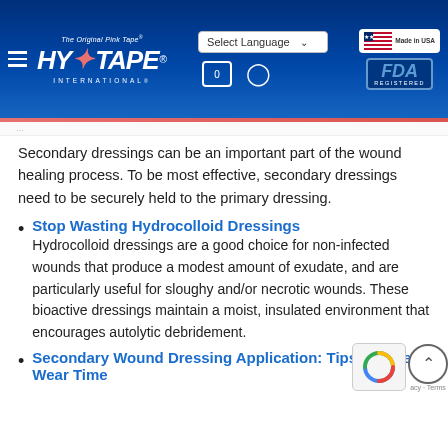Hy-Tape International — The Original Pink Tape
Secondary dressings can be an important part of the wound healing process. To be most effective, secondary dressings need to be securely held to the primary dressing.
Stop Wasting Hydrocolloid Dressings
Hydrocolloid dressings are a good choice for non-infected wounds that produce a modest amount of exudate, and are particularly useful for sloughy and/or necrotic wounds. These bioactive dressings maintain a moist, insulated environment that encourages autolytic debridement.
Secondary Wound Dressing Application: Tips to Extend Wear Time